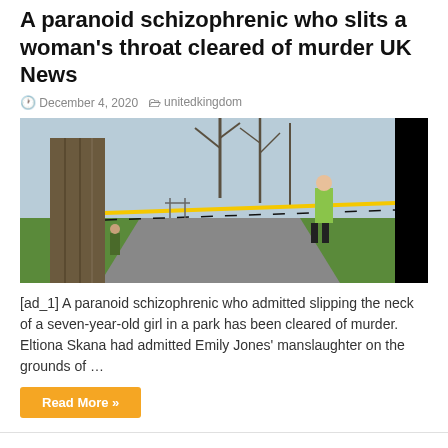A paranoid schizophrenic who slits a woman's throat cleared of murder UK News
December 4, 2020   unitedkingdom
[Figure (photo): Crime scene photo showing yellow police tape across a park path with a uniformed officer in the background and a tree in the foreground; right portion of image is black]
[ad_1] A paranoid schizophrenic who admitted slipping the neck of a seven-year-old girl in a park has been cleared of murder. Eltiona Skana had admitted Emily Jones' manslaughter on the grounds of …
Read More »
The Dunes and Matrix 4 streaming scheme encourages urgent talks from AMC cinemas